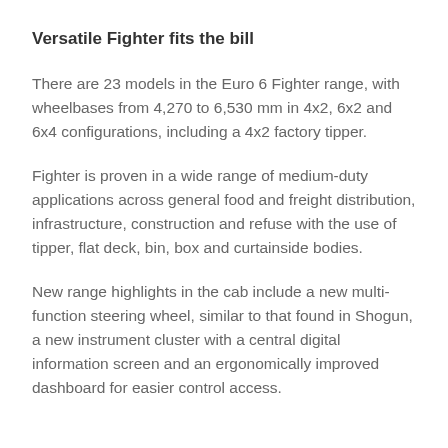Versatile Fighter fits the bill
There are 23 models in the Euro 6 Fighter range, with wheelbases from 4,270 to 6,530 mm in 4x2, 6x2 and 6x4 configurations, including a 4x2 factory tipper.
Fighter is proven in a wide range of medium-duty applications across general food and freight distribution, infrastructure, construction and refuse with the use of tipper, flat deck, bin, box and curtainside bodies.
New range highlights in the cab include a new multi-function steering wheel, similar to that found in Shogun, a new instrument cluster with a central digital information screen and an ergonomically improved dashboard for easier control access.